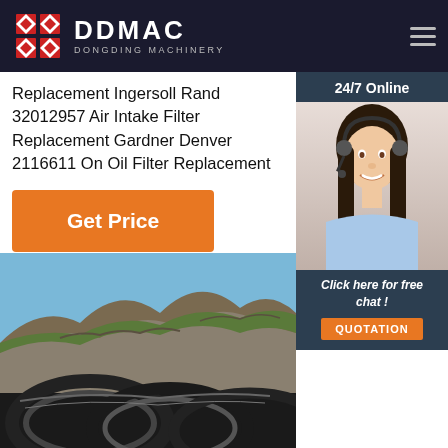DDMAC DONGDING MACHINERY
Replacement Ingersoll Rand 32012957 Air Intake Filter Replacement Gardner Denver 2116611 On Oil Filter Replacement
[Figure (photo): Customer service representative woman with headset, 24/7 Online chat panel with QUOTATION button]
[Figure (photo): Large industrial rings/piston rings against a mountain landscape background with blue sky]
Get Price
24/7 Online
Click here for free chat !
QUOTATION